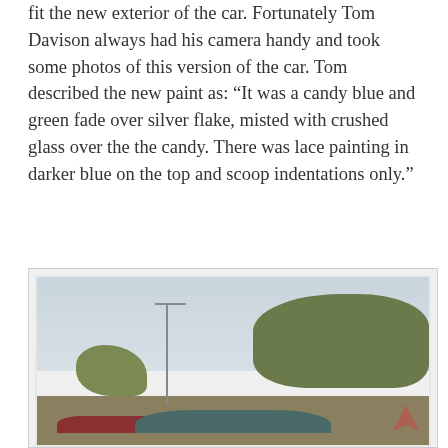fit the new exterior of the car. Fortunately Tom Davison always had his camera handy and took some photos of this version of the car. Tom described the new paint as: “It was a candy blue and green fade over silver flake, misted with crushed glass over the the candy. There was lace painting in darker blue on the top and scoop indentations only.”
[Figure (photo): Vintage photograph of cars parked in a lot with trees and a light pole in the background against a light sky.]